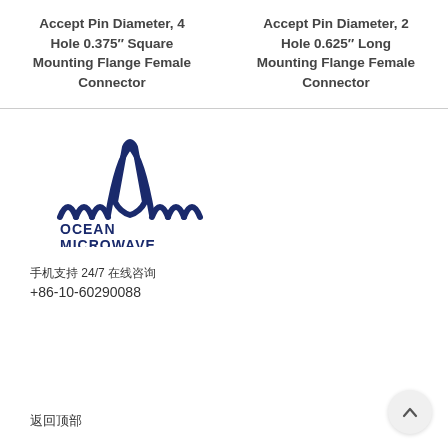Accept Pin Diameter, 4 Hole 0.375″ Square Mounting Flange Female Connector
Accept Pin Diameter, 2 Hole 0.625″ Long Mounting Flange Female Connector
[Figure (logo): Ocean Microwave logo with wave/arch graphic in dark navy blue]
手机支持 24/7 在线咨询
+86-10-60290088
返回顶部